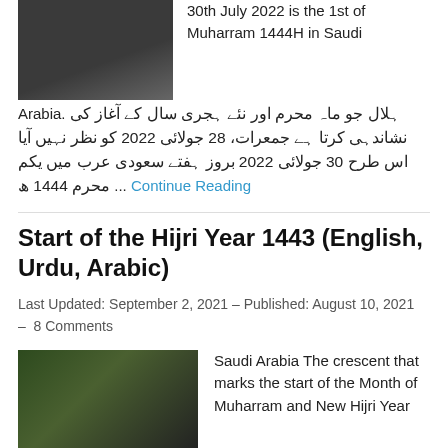[Figure (photo): Dark photo partially visible at top left]
30th July 2022 is the 1st of Muharram 1444H in Saudi Arabia.
ہلال جو ماہ محرم اور نئے ہجری سال کے آغاز کی نشاندہی کرتا ہے جمعرات، 28 جولائی 2022 کو نظر نہیں آیا اس طرح 30 جولائی 2022 بروز ہفتے سعودی عرب میں یکم محرم 1444 ھ ... Continue Reading
Start of the Hijri Year 1443 (English, Urdu, Arabic)
Last Updated: September 2, 2021 – Published: August 10, 2021 – 8 Comments
[Figure (photo): Photo showing crescent moon or decorations]
Saudi Arabia The crescent that marks the start of the Month of Muharram and New Hijri Year